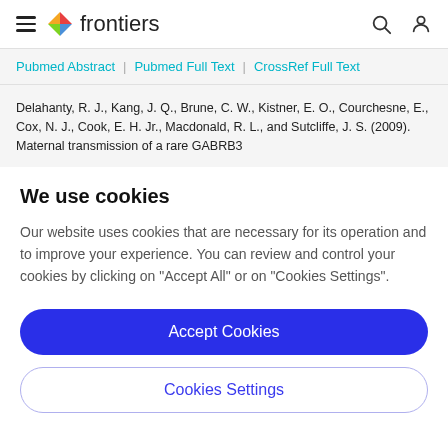frontiers
Pubmed Abstract | Pubmed Full Text | CrossRef Full Text
Delahanty, R. J., Kang, J. Q., Brune, C. W., Kistner, E. O., Courchesne, E., Cox, N. J., Cook, E. H. Jr., Macdonald, R. L., and Sutcliffe, J. S. (2009). Maternal transmission of a rare GABRB3
We use cookies
Our website uses cookies that are necessary for its operation and to improve your experience. You can review and control your cookies by clicking on "Accept All" or on "Cookies Settings".
Accept Cookies
Cookies Settings